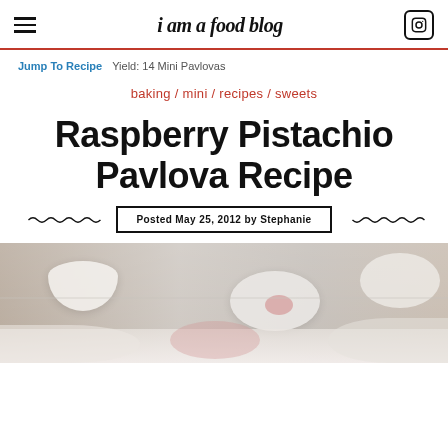i am a food blog
Jump To Recipe  Yield: 14 Mini Pavlovas
baking / mini / recipes / sweets
Raspberry Pistachio Pavlova Recipe
Posted May 25, 2012 by Stephanie
[Figure (photo): Blurred photo of mini pavlovas in white bowls/dishes, showing meringue desserts from above, with a pink raspberry sauce visible]